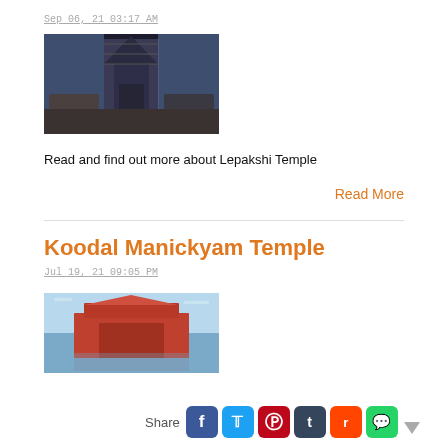Sep 06, 21 03:17 AM
[Figure (photo): Temple building silhouette against blue sky, dark tones, under construction with scaffolding]
Read and find out more about Lepakshi Temple
Read More
Koodal Manickyam Temple
Jul 19, 21 09:05 PM
[Figure (photo): Temple with red/orange gopuram reflected in water, blue sky background]
Share